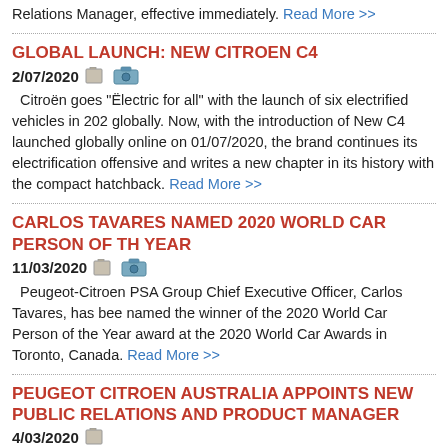Relations Manager, effective immediately. Read More >>
GLOBAL LAUNCH: NEW CITROEN C4
2/07/2020
Citroën goes "Ëlectric for all" with the launch of six electrified vehicles in 2020 globally. Now, with the introduction of New C4 launched globally online on 01/07/2020, the brand continues its electrification offensive and writes a new chapter in its history with the compact hatchback. Read More >>
CARLOS TAVARES NAMED 2020 WORLD CAR PERSON OF THE YEAR
11/03/2020
Peugeot-Citroen PSA Group Chief Executive Officer, Carlos Tavares, has been named the winner of the 2020 World Car Person of the Year award at the 2020 World Car Awards in Toronto, Canada. Read More >>
PEUGEOT CITROEN AUSTRALIA APPOINTS NEW PUBLIC RELATIONS AND PRODUCT MANAGER
4/03/2020
Peugeot Citroen Australia (PCA) has appointed Daniel Khan to the position of Public Relations and Product Manager, effective immediately. Read More >>